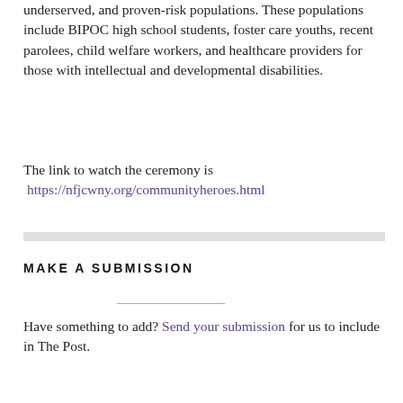underserved, and proven-risk populations. These populations include BIPOC high school students, foster care youths, recent parolees, child welfare workers, and healthcare providers for those with intellectual and developmental disabilities.
The link to watch the ceremony is https://nfjcwny.org/communityheroes.html
MAKE A SUBMISSION
Have something to add? Send your submission for us to include in The Post.